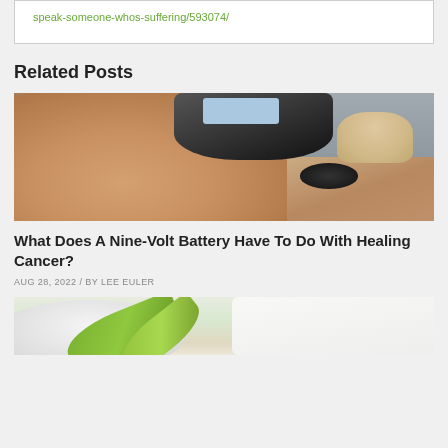speak-someone-whos-suffering/593074/
Related Posts
[Figure (photo): Woman lying face down receiving electrotherapy or massage treatment on her back with a medical device visible in the background]
What Does A Nine-Volt Battery Have To Do With Healing Cancer?
AUG 28, 2022 / BY LEE EULER
[Figure (photo): Aloe vera slices on a white plate with a white towel on a wooden surface]